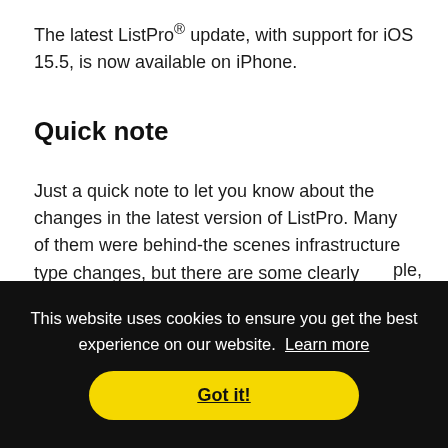The latest ListPro® update, with support for iOS 15.5, is now available on iPhone.
Quick note
Just a quick note to let you know about the changes in the latest version of ListPro. Many of them were behind-the scenes infrastructure type changes, but there are some clearly visible updates as well. The biggest noticeable area is better
This website uses cookies to ensure you get the best experience on our website. Learn more
Got it!
additional screen width.